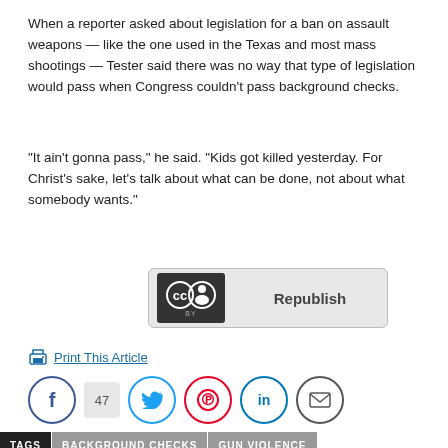When a reporter asked about legislation for a ban on assault weapons — like the one used in the Texas and most mass shootings — Tester said there was no way that type of legislation would pass when Congress couldn't pass background checks.
“It ain’t gonna pass,” he said. “Kids got killed yesterday. For Christ’s sake, let’s talk about what can be done, not about what somebody wants.”
[Figure (other): Creative Commons BY license badge with Republish button]
Print This Article
[Figure (other): Social sharing buttons: Facebook, share count 47, Twitter, Pinterest, LinkedIn, Email]
TAGS  BACKGROUND CHECKS  GUN VIOLENCE